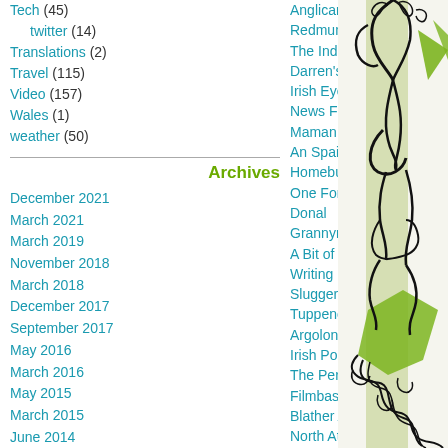Tech (45)
twitter (14)
Translations (2)
Travel (115)
Video (157)
Wales (1)
weather (50)
Archives
December 2021
March 2021
March 2019
November 2018
March 2018
December 2017
September 2017
May 2016
March 2016
May 2015
March 2015
June 2014
May 2014
March 2014
January 2014
August 2013
May 2013
March 2013
August 2012
July 2012
May 2012
March 2012
Anglican
Redmum
The Indie Hour
Darren's Photo Blog
Irish Eyes Art Studio
News From Nowhere
Maman Poulet
An Spailpin Fanach
Homebug
One For The Road
Donal
Grannymar
A Bit of Bonhomie
Writing It Down Fills In...
Slugger O'Toole
Tuppenceworth
Argolon
Irish Politics
The Persuaders
Filmbase
Blather Abroad
North Atlantic Skyline
In Photo Dot...
[Figure (illustration): Cartoon/illustration of a stylized figure with black line art and green accent colors on right side of page]